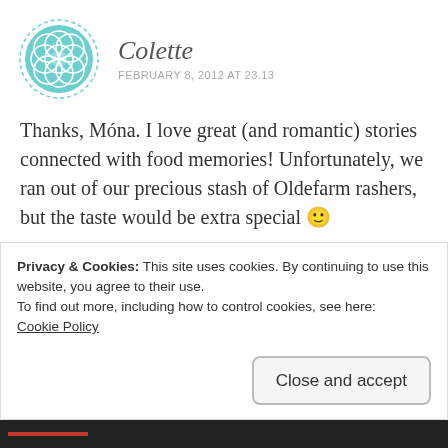[Figure (logo): Circular avatar with teal geometric/floral pattern and dashed border]
Colette
FEBRUARY 8, 2012 AT 23.13
Thanks, Móna. I love great (and romantic) stories connected with food memories! Unfortunately, we ran out of our precious stash of Oldefarm rashers, but the taste would be extra special 🙂
★ Like
Reply
Privacy & Cookies: This site uses cookies. By continuing to use this website, you agree to their use.
To find out more, including how to control cookies, see here:
Cookie Policy
Close and accept